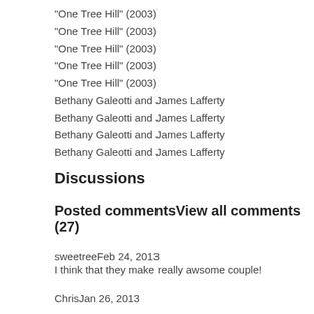"One Tree Hill" (2003)
"One Tree Hill" (2003)
"One Tree Hill" (2003)
"One Tree Hill" (2003)
"One Tree Hill" (2003)
Bethany Galeotti and James Lafferty
Bethany Galeotti and James Lafferty
Bethany Galeotti and James Lafferty
Bethany Galeotti and James Lafferty
Discussions
Posted commentsView all comments (27)
sweetreeFeb 24, 2013
I think that they make really awsome couple!
ChrisJan 26, 2013